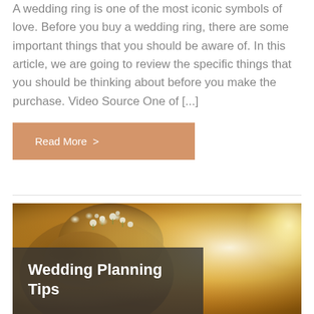A wedding ring is one of the most iconic symbols of love. Before you buy a wedding ring, there are some important things that you should be aware of. In this article, we are going to review the specific things that you should be thinking about before you make the purchase. Video Source One of [...]
Read More >
[Figure (photo): A woman with flowers in her hair, photographed in warm golden sunlight. Overlaid with a dark semi-transparent banner at the bottom left containing the title 'Wedding Planning Tips'.]
Wedding Planning Tips